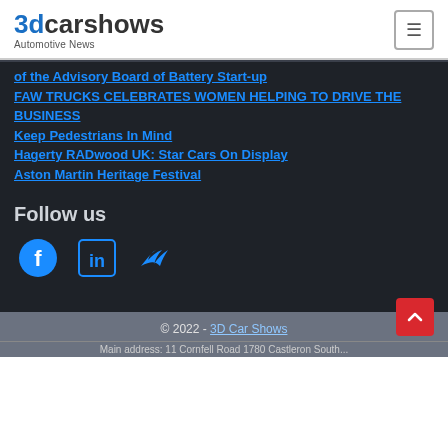3dcarshows Automotive News
of the Advisory Board of Battery Start-up
FAW TRUCKS CELEBRATES WOMEN HELPING TO DRIVE THE BUSINESS
Keep Pedestrians In Mind
Hagerty RADwood UK: Star Cars On Display
Aston Martin Heritage Festival
Follow us
[Figure (other): Social media icons: Facebook, LinkedIn, Twitter]
© 2022 - 3D Car Shows
Main address: 11 Cornfell Road 1780 Castleron South...